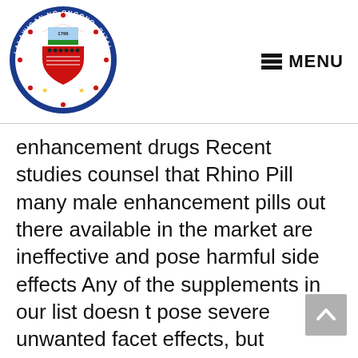[Figure (logo): Seal of the Province of Rizal, Philippines — circular seal with text 'LALAWIGAN NG ONGONO, RIZAL' and 'SAGISAG' around the border, year 1766, and a shield emblem in the center.]
MENU
enhancement drugs Recent studies counsel that Rhino Pill many male enhancement pills out there available in the market are ineffective and pose harmful side effects Any of the supplements in our list doesn t pose severe unwanted facet effects, but outcomes on every particular person could vary Many firms advertise unrealistic and anatomically unimaginable benefits They claim that their male enhancement capsule can enhance the size Rhino Pills of the penis